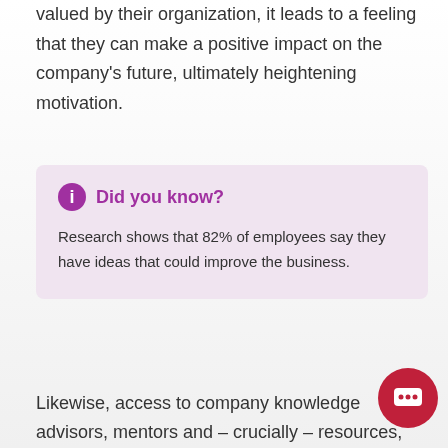valued by their organization, it leads to a feeling that they can make a positive impact on the company's future, ultimately heightening motivation.
Did you know? Research shows that 82% of employees say they have ideas that could improve the business.
Likewise, access to company knowledge advisors, mentors and – crucially – resources,